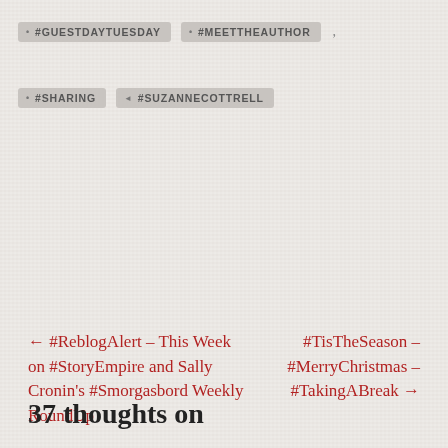#GUESTDAYTUESDAY
#MEETTHEAUTHOR
#SHARING
#SUZANNECOTTRELL
← #ReblogAlert – This Week on #StoryEmpire and Sally Cronin's #Smorgasbord Weekly RoundUp
#TisTheSeason – #MerryChristmas – #TakingABreak →
37 thoughts on